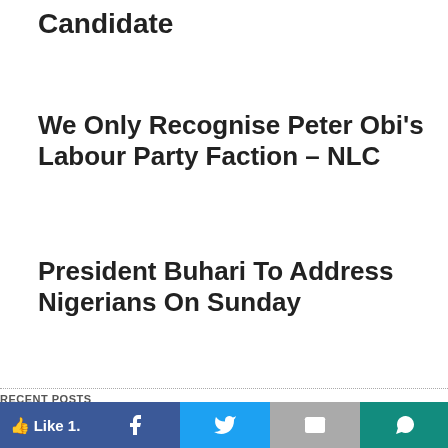Candidate
We Only Recognise Peter Obi's Labour Party Faction – NLC
President Buhari To Address Nigerians On Sunday
RECENT POSTS
Local
UK Promises £1m Support To NDLEA As Marwa Seeks More Help
The United Kingdom has said it will provide One Million Pounds (£1million) worth of support to enhance the